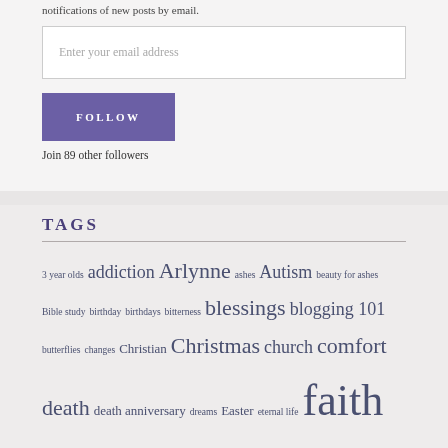notifications of new posts by email.
Enter your email address
FOLLOW
Join 89 other followers
TAGS
3 year olds addiction Arlynne ashes Autism beauty for ashes Bible study birthday birthdays bitterness blessings blogging 101 butterflies changes Christian Christmas church comfort death death anniversary dreams Easter eternal life faith